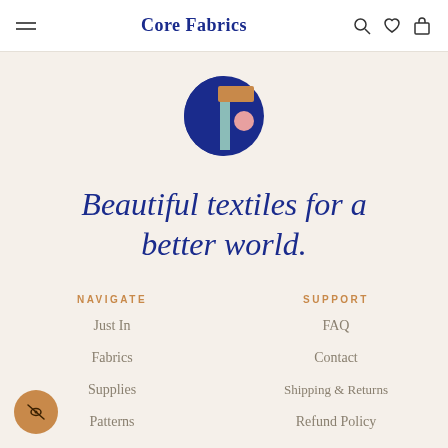Core Fabrics
[Figure (logo): Core Fabrics abstract logo: dark blue semicircle with teal rectangle, brown/tan horizontal rectangle, and pink circle]
Beautiful textiles for a better world.
NAVIGATE
SUPPORT
Just In
FAQ
Fabrics
Contact
Supplies
Shipping & Returns
Patterns
Refund Policy